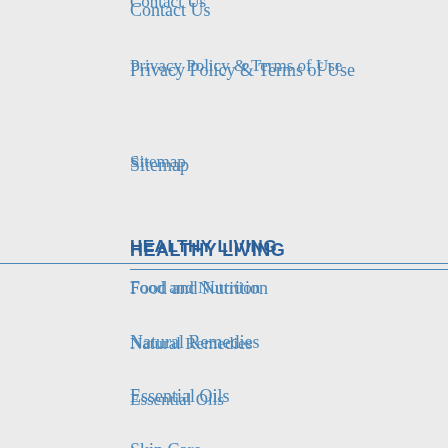Contact Us
Privacy Policy & Terms of Use
Sitemap
HEALTHY LIVING
Food and Nutrition
Natural Remedies
Essential Oils
Skin Care
Alternative Remedies
CONNECT WITH US
[Figure (illustration): Social media icons: Facebook (dark blue circle with white f), Twitter (light blue circle with white bird), Pinterest (red circle with white p)]